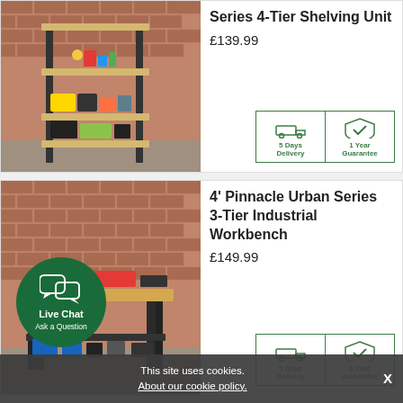[Figure (photo): Product photo of a 4-tier shelving unit against a brick wall, loaded with tools and storage bins]
Series 4-Tier Shelving Unit
£139.99
[Figure (infographic): 5 Days Delivery and 1 Year Guarantee badges]
[Figure (photo): Product photo of a 4' Pinnacle Urban Series 3-Tier Industrial Workbench against a brick wall with tools stored underneath]
4' Pinnacle Urban Series 3-Tier Industrial Workbench
£149.99
[Figure (infographic): 5 Days Delivery and 1 Year Guarantee badges]
Live Chat
Ask a Question
This site uses cookies.
About our cookie policy.
Pinnacle Urban Series